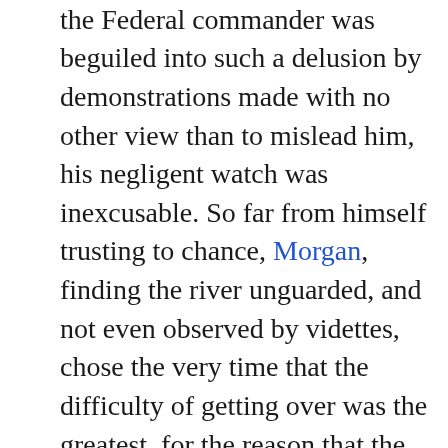proximity to Bragg. But, even if the Federal commander was beguiled into such a delusion by demonstrations made with no other view than to mislead him, his negligent watch was inexcusable. So far from himself trusting to chance, Morgan, finding the river unguarded, and not even observed by videttes, chose the very time that the difficulty of getting over was the greatest, for the reason that the attempt would then be least expected.
The result verified the accuracy of his calculations. Information of our movements was not transmitted to the enemy until late in the day, and it was not until nearly three in the afternoon that a column of